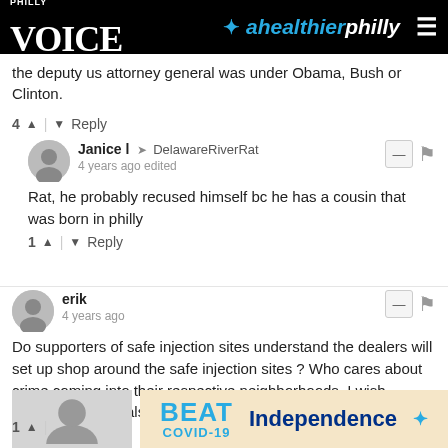PHILLY VOICE | ahealthierphilly
the deputy us attorney general was under Obama, Bush or Clinton.
4  ▲  |  ▼  Reply
Janice l → DelawareRiverRat
4 years ago edited
Rat, he probably recused himself bc he has a cousin that was born in philly
1  ▲  |  ▼  Reply
erik
4 years ago
Do supporters of safe injection sites understand the dealers will set up shop around the safe injection sites ? Who cares about crime coming into their respective neighborhoods. I wish government officials felt so sympathetic during the crack epidemic.
1  ▲  |
[Figure (infographic): Advertisement banner: BEAT COVID-19 with Independence Blue Cross logo]